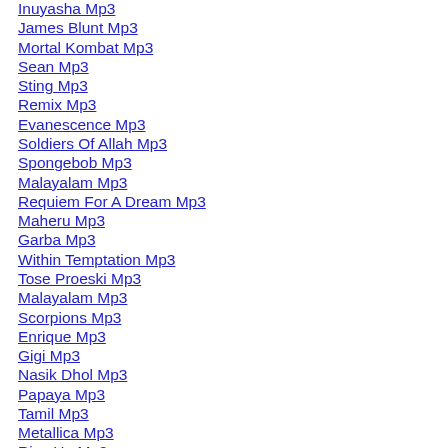Inuyasha Mp3
James Blunt Mp3
Mortal Kombat Mp3
Sean Mp3
Sting Mp3
Remix Mp3
Evanescence Mp3
Soldiers Of Allah Mp3
Spongebob Mp3
Malayalam Mp3
Requiem For A Dream Mp3
Maheru Mp3
Garba Mp3
Within Temptation Mp3
Tose Proeski Mp3
Malayalam Mp3
Scorpions Mp3
Enrique Mp3
Gigi Mp3
Nasik Dhol Mp3
Papaya Mp3
Tamil Mp3
Metallica Mp3
Rise Up Mp3
Christina Aguilera Mp3